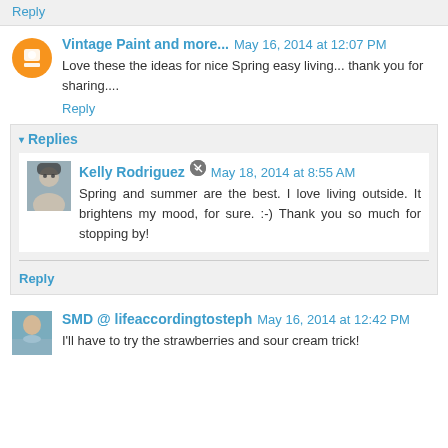Reply
Vintage Paint and more...  May 16, 2014 at 12:07 PM
Love these the ideas for nice Spring easy living... thank you for sharing....
Reply
Replies
Kelly Rodriguez  May 18, 2014 at 8:55 AM
Spring and summer are the best. I love living outside. It brightens my mood, for sure. :-) Thank you so much for stopping by!
Reply
SMD @ lifeaccordingtosteph  May 16, 2014 at 12:42 PM
I'll have to try the strawberries and sour cream trick!